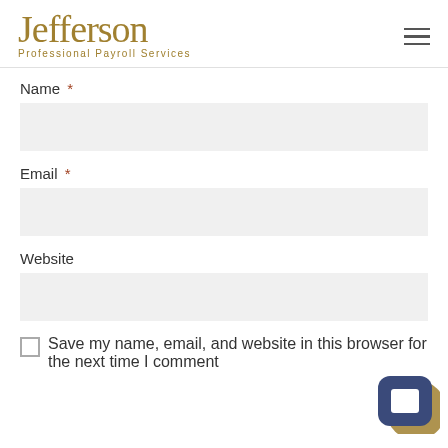Jefferson Professional Payroll Services
Name *
Email *
Website
Save my name, email, and website in this browser for the next time I comment